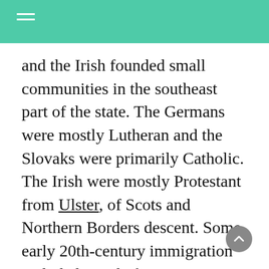and the Irish founded small communities in the southeast part of the state. The Germans were mostly Lutheran and the Slovaks were primarily Catholic. The Irish were mostly Protestant from Ulster, of Scots and Northern Borders descent. Some early 20th-century immigration included people from eastern Europe. Together, these immigrants made the Delta more diverse than the rest of the state. In the same years, some black migrants moved into the area because of opportunities to develop the bottomlands and own their own property.